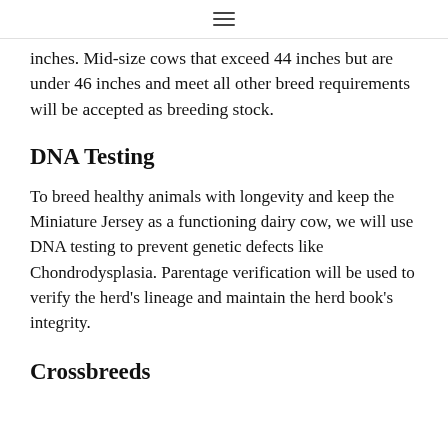≡
inches. Mid-size cows that exceed 44 inches but are under 46 inches and meet all other breed requirements will be accepted as breeding stock.
DNA Testing
To breed healthy animals with longevity and keep the Miniature Jersey as a functioning dairy cow, we will use DNA testing to prevent genetic defects like Chondrodysplasia. Parentage verification will be used to verify the herd's lineage and maintain the herd book's integrity.
Crossbreeds